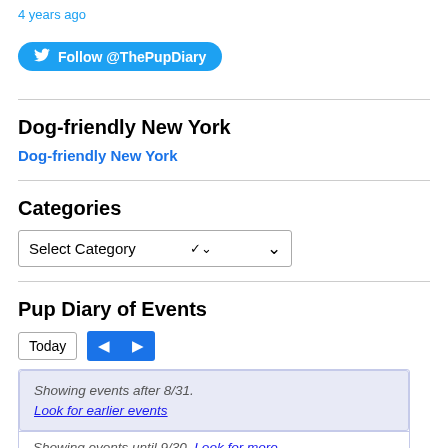4 years ago
Follow @ThePupDiary
Dog-friendly New York
Dog-friendly New York
Categories
Select Category
Pup Diary of Events
Today
Showing events after 8/31. Look for earlier events
Showing events until 9/30. Look for more